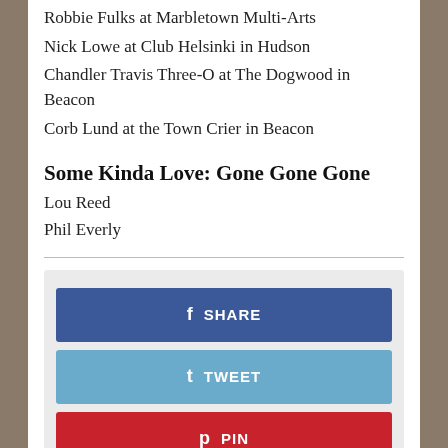Robbie Fulks at Marbletown Multi-Arts
Nick Lowe at Club Helsinki in Hudson
Chandler Travis Three-O at The Dogwood in Beacon
Corb Lund at the Town Crier in Beacon
Some Kinda Love: Gone Gone Gone
Lou Reed
Phil Everly
[Figure (infographic): Social sharing buttons: Facebook Share, Twitter Tweet, Pinterest Pin, Google+ Share]